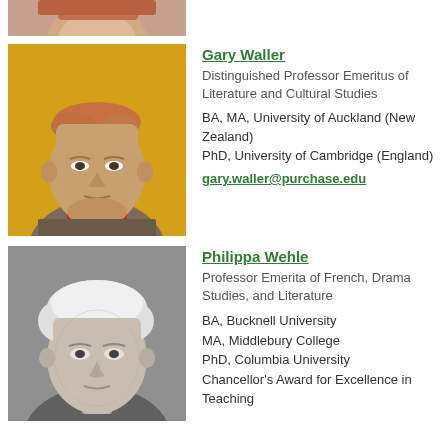[Figure (photo): Partial photo of a person at top of page, cropped]
[Figure (photo): Color photo of Gary Waller, elderly man with thinning reddish-gray hair, wearing a red collar shirt and patterned sweater, against a yellow background]
Gary Waller
Distinguished Professor Emeritus of Literature and Cultural Studies
BA, MA, University of Auckland (New Zealand)
PhD, University of Cambridge (England)
gary.waller@purchase.edu
[Figure (photo): Black and white photo of Philippa Wehle, elderly woman with short white hair]
Philippa Wehle
Professor Emerita of French, Drama Studies, and Literature
BA, Bucknell University
MA, Middlebury College
PhD, Columbia University
Chancellor's Award for Excellence in Teaching